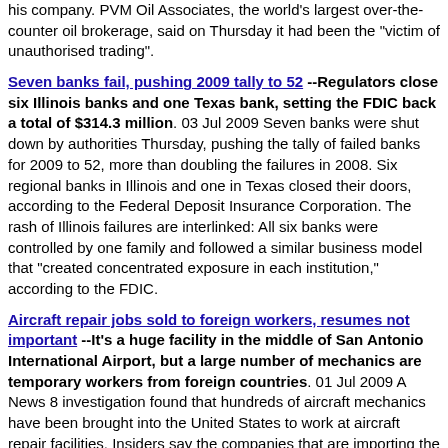his company. PVM Oil Associates, the world's largest over-the-counter oil brokerage, said on Thursday it had been the "victim of unauthorised trading".
Seven banks fail, pushing 2009 tally to 52 --Regulators close six Illinois banks and one Texas bank, setting the FDIC back a total of $314.3 million. 03 Jul 2009 Seven banks were shut down by authorities Thursday, pushing the tally of failed banks for 2009 to 52, more than doubling the failures in 2008. Six regional banks in Illinois and one in Texas closed their doors, according to the Federal Deposit Insurance Corporation. The rash of Illinois failures are interlinked: All six banks were controlled by one family and followed a similar business model that "created concentrated exposure in each institution," according to the FDIC.
Aircraft repair jobs sold to foreign workers, resumes not important --It's a huge facility in the middle of San Antonio International Airport, but a large number of mechanics are temporary workers from foreign countries. 01 Jul 2009 A News 8 investigation found that hundreds of aircraft mechanics have been brought into the United States to work at aircraft repair facilities. Insiders say the companies that are importing the mechanics are so eager to save money, they're overstating their qualifications. The result may be a threat to safety, abetted by lax enforcement of immigration law.
ExxonMobil continuing to fund climate sceptic groups, records show --Records show ExxonMobil gave hundreds of thousands of pounds to lobby groups that have